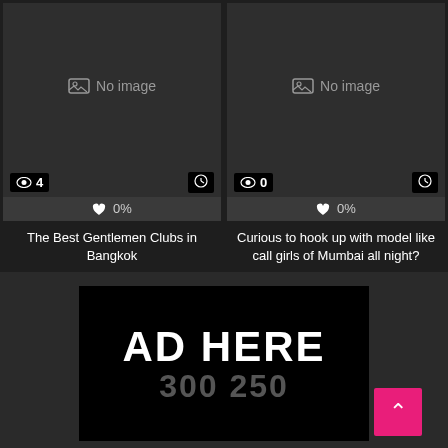[Figure (screenshot): Card with no image placeholder, view count 4, clock icon, 0% likes, titled 'The Best Gentlemen Clubs in Bangkok']
The Best Gentlemen Clubs in Bangkok
[Figure (screenshot): Card with no image placeholder, view count 0, clock icon, 0% likes, titled 'Curious to hook up with model like call girls of Mumbai all night?']
Curious to hook up with model like call girls of Mumbai all night?
[Figure (other): Advertisement placeholder box showing 'AD HERE' and '300 250' on black background with pink back-to-top arrow button]